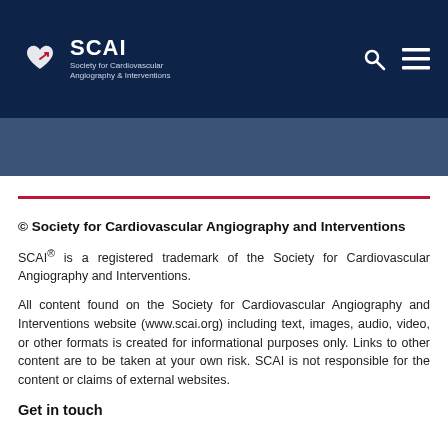SCAI — Society for Cardiovascular Angiography & Interventions
[Figure (logo): SCAI logo with heart/arrow icon and text 'SCAI Society for Cardiovascular Angiography & Interventions' on dark navy background header]
© Society for Cardiovascular Angiography and Interventions
SCAI® is a registered trademark of the Society for Cardiovascular Angiography and Interventions.
All content found on the Society for Cardiovascular Angiography and Interventions website (www.scai.org) including text, images, audio, video, or other formats is created for informational purposes only. Links to other content are to be taken at your own risk. SCAI is not responsible for the content or claims of external websites.
Get in touch